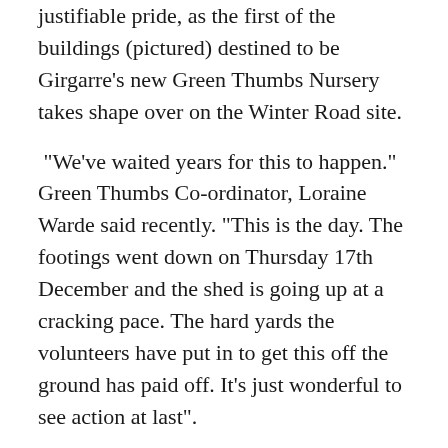almost palpable. They're watching, with justifiable pride, as the first of the buildings (pictured) destined to be Girgarre's new Green Thumbs Nursery takes shape over on the Winter Road site.
“We’ve waited years for this to happen.” Green Thumbs Co-ordinator, Loraine Warde said recently. “This is the day. The footings went down on Thursday 17th December and the shed is going up at a cracking pace. The hard yards the volunteers have put in to get this off the ground has paid off. It’s just wonderful to see action at last”.
The move from the current overcrowded site on Olympic Street is especially looked forward to by